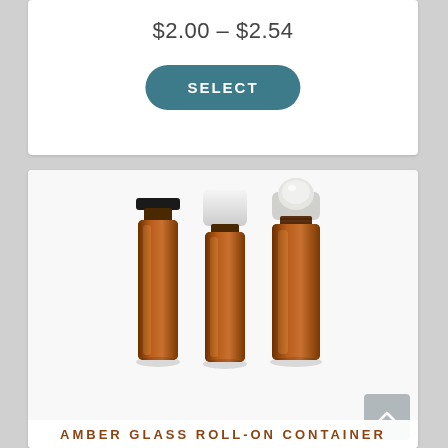$2.00 – $2.54
SELECT
[Figure (photo): Three amber glass roll-on bottles with different closures: black cap, white cap, and open roller ball]
AMBER GLASS ROLL-ON CONTAINER